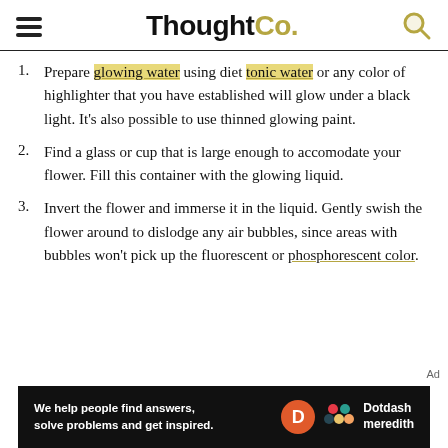ThoughtCo.
Prepare glowing water using diet tonic water or any color of highlighter that you have established will glow under a black light. It's also possible to use thinned glowing paint.
Find a glass or cup that is large enough to accomodate your flower. Fill this container with the glowing liquid.
Invert the flower and immerse it in the liquid. Gently swish the flower around to dislodge any air bubbles, since areas with bubbles won't pick up the fluorescent or phosphorescent color.
[Figure (other): Advertisement banner: black background with text 'We help people find answers, solve problems and get inspired.' alongside Dotdash Meredith logo.]